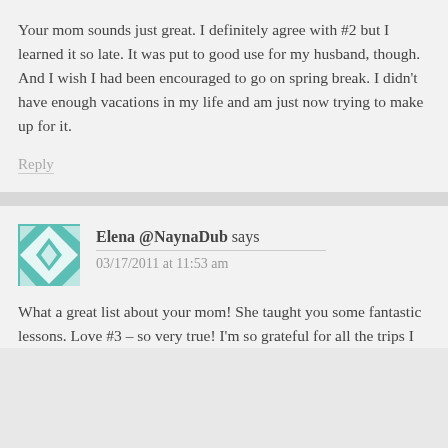Your mom sounds just great. I definitely agree with #2 but I learned it so late. It was put to good use for my husband, though. And I wish I had been encouraged to go on spring break. I didn't have enough vacations in my life and am just now trying to make up for it.
Reply
Elena @NaynaDub says
03/17/2011 at 11:53 am
What a great list about your mom! She taught you some fantastic lessons. Love #3 – so very true! I'm so grateful for all the trips I